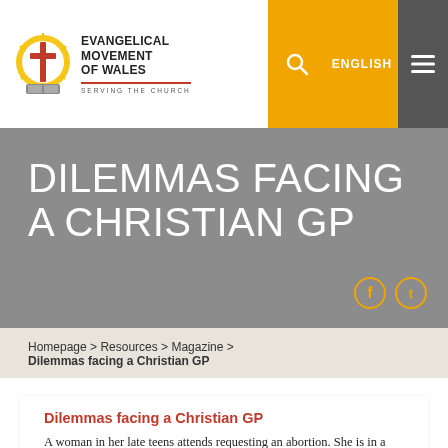[Figure (logo): Evangelical Movement of Wales logo with cross emblem and text: EVANGELICAL MOVEMENT OF WALES SERVING THE CHURCH]
ENGLISH
DILEMMAS FACING A CHRISTIAN GP
Homepage > Resources > Magazine >
Dilemmas facing a Christian GP
Dilemmas facing a Christian GP
A woman in her late teens attends requesting an abortion. She is in a relationship, contraception has failed and she is six weeks pregnant. She